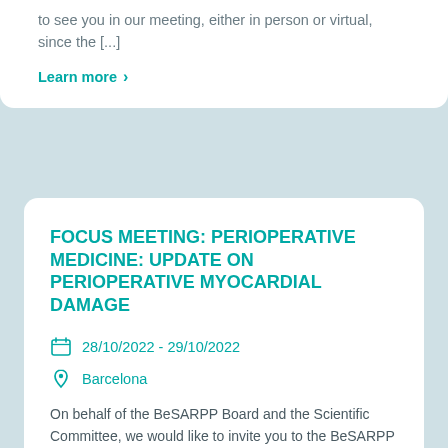to see you in our meeting, either in person or virtual, since the [...]
Learn more  >
FOCUS MEETING: PERIOPERATIVE MEDICINE: UPDATE ON PERIOPERATIVE MYOCARDIAL DAMAGE
28/10/2022 - 29/10/2022
Barcelona
On behalf of the BeSARPP Board and the Scientific Committee, we would like to invite you to the BeSARPP Annual Meeting.